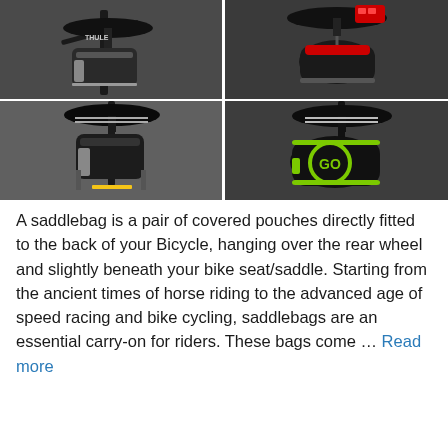[Figure (photo): 2x2 grid of bicycle saddlebag/saddle bag product photos. Top-left: black saddle bag mounted under bike seat with Thule branding, dark background. Top-right: red and black saddle bag mounted under saddle with red taillight visible. Bottom-left: black Topeak branded saddle bag under black bike saddle, gray background. Bottom-right: black saddle bag with green GO logo under black carbon bike saddle.]
A saddlebag is a pair of covered pouches directly fitted to the back of your Bicycle, hanging over the rear wheel and slightly beneath your bike seat/saddle. Starting from the ancient times of horse riding to the advanced age of speed racing and bike cycling, saddlebags are an essential carry-on for riders. These bags come … Read more